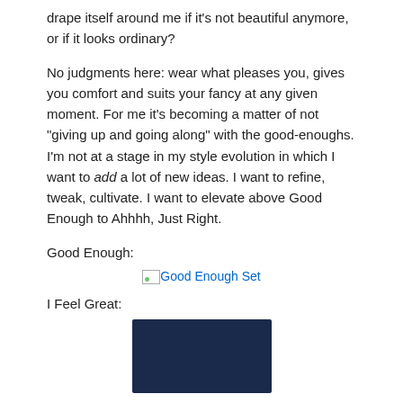drape itself around me if it's not beautiful anymore, or if it looks ordinary?
No judgments here: wear what pleases you, gives you comfort and suits your fancy at any given moment. For me it's becoming a matter of not “giving up and going along” with the good-enoughs. I’m not at a stage in my style evolution in which I want to add a lot of new ideas. I want to refine, tweak, cultivate. I want to elevate above Good Enough to Ahhhh, Just Right.
Good Enough:
[Figure (photo): Broken image placeholder link labeled 'Good Enough Set']
I Feel Great:
[Figure (photo): Partial photo showing a dark navy blue folded fabric or garment item]